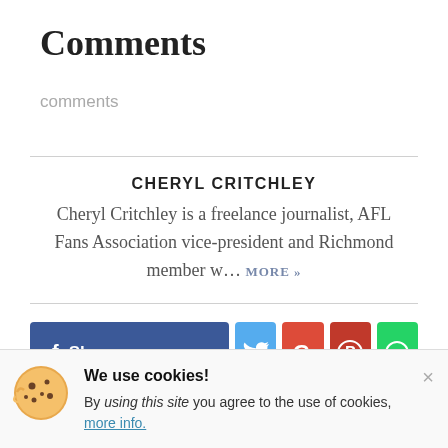Comments
comments
CHERYL CRITCHLEY
Cheryl Critchley is a freelance journalist, AFL Fans Association vice-president and Richmond member w… MORE »
[Figure (other): Social share buttons: Facebook Share, Twitter, Google+, Pinterest, WhatsApp]
We use cookies! By using this site you agree to the use of cookies, more info.